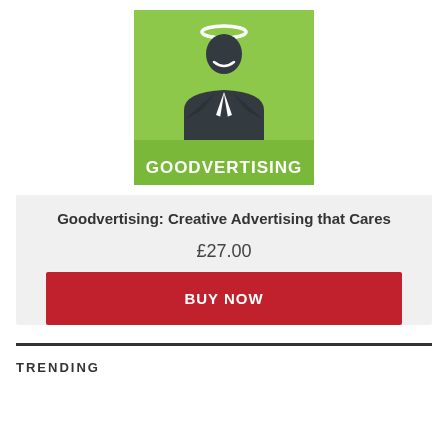[Figure (illustration): Book cover for Goodvertising: Creative Advertising that Cares — green background with silhouette of man in suit with halo, bold white text reading GOODVERTISING]
Goodvertising: Creative Advertising that Cares
£27.00
BUY NOW
TRENDING